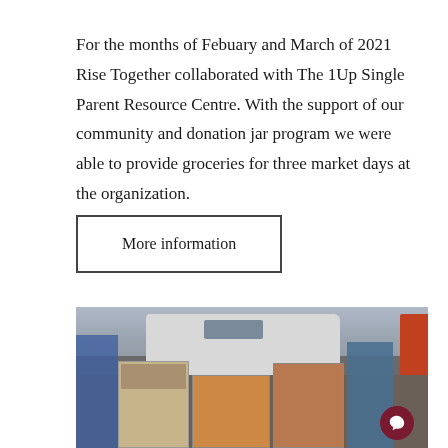For the months of Febuary and March of 2021 Rise Together collaborated with The 1Up Single Parent Resource Centre. With the support of our community and donation jar program we were able to provide groceries for three market days at the organization.
More information
[Figure (photo): Photo of grocery boxes and food donations in a parking lot with a white SUV/van in the background.]